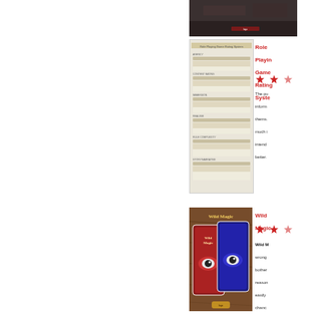[Figure (photo): Dark image at top right, appears to show stairs or hallway with dark tones and small red text/logo]
[Figure (screenshot): Role Playing Game Rating System document image showing various rating categories like Agency, Content Rating, Immersion, Realism, Rule Complexity, Story/Narrative with sliding scales]
Role Playing Game Rating System
[Figure (other): Three red star rating icons]
The pu inform thems much i intend better.
[Figure (photo): Wild Magic card game cover showing playing cards with eye designs on red and blue backgrounds, on a wooden surface]
Wild Magic
[Figure (other): Three red star rating icons]
Wild M wrong bother reason easily chanc